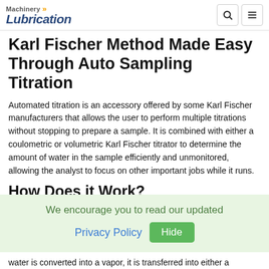Machinery Lubrication
Karl Fischer Method Made Easy Through Auto Sampling Titration
Automated titration is an accessory offered by some Karl Fischer manufacturers that allows the user to perform multiple titrations without stopping to prepare a sample. It is combined with either a coulometric or volumetric Karl Fischer titrator to determine the amount of water in the sample efficiently and unmonitored, allowing the analyst to focus on other important jobs while it runs.
How Does it Work?
We encourage you to read our updated Privacy Policy Hide
water is converted into a vapor, it is transferred into either a